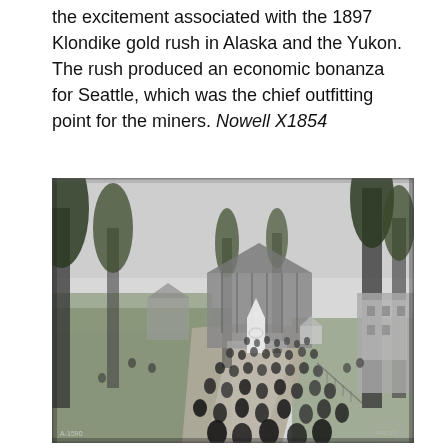the excitement associated with the 1897 Klondike gold rush in Alaska and the Yukon. The rush produced an economic bonanza for Seattle, which was the chief outfitting point for the miners. Nowell X1854
[Figure (photo): Historic black-and-white photograph showing a crowded promenade at what appears to be a late 19th century exposition or fair grounds. Many people in period dress walk along a wide path flanked by lawns and trees. A large building with steps is visible in the background, along with a white tower/steeple structure and a gazebo. Tall conifers frame the scene. A watermark or stamp appears in the lower right corner. Caption number A-1590 appears lower left.]